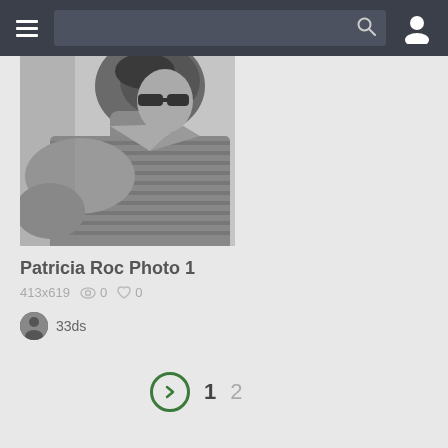[Figure (screenshot): Mobile app navigation bar with hamburger menu, search bar, and user profile icon on dark background]
[Figure (photo): Black and white photo of a person from behind/side, wearing a striped polo shirt, cropped at top]
Patricia Roc Photo 1
413x619 👁 0 ♥ 0
33ds
1 2